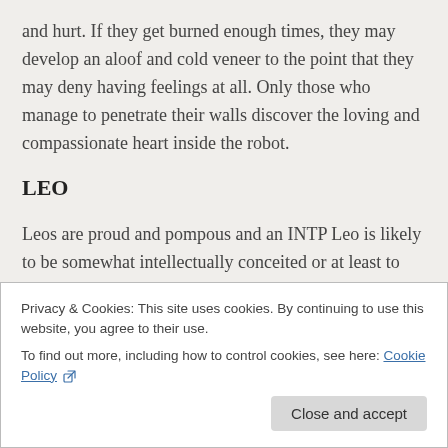and hurt. If they get burned enough times, they may develop an aloof and cold veneer to the point that they may deny having feelings at all. Only those who manage to penetrate their walls discover the loving and compassionate heart inside the robot.
LEO
Leos are proud and pompous and an INTP Leo is likely to be somewhat intellectually conceited or at least to appear to be so. They may intimidate others with the confidence with which they assert their points and arguments. INTP
Privacy & Cookies: This site uses cookies. By continuing to use this website, you agree to their use.
To find out more, including how to control cookies, see here: Cookie Policy